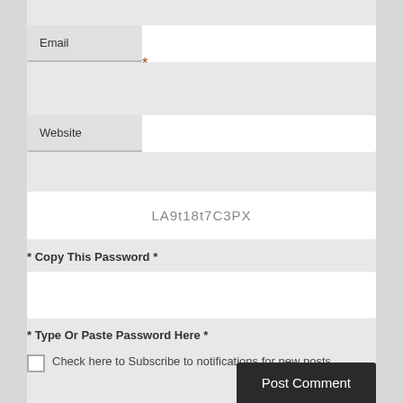Email
*
Website
LA9t18t7C3PX
* Copy This Password *
* Type Or Paste Password Here *
Check here to Subscribe to notifications for new posts
Post Comment